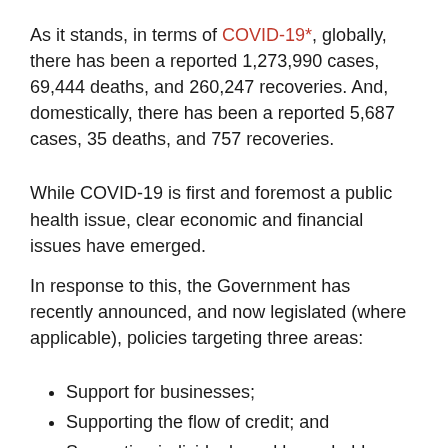As it stands, in terms of COVID-19*, globally, there has been a reported 1,273,990 cases, 69,444 deaths, and 260,247 recoveries. And, domestically, there has been a reported 5,687 cases, 35 deaths, and 757 recoveries.
While COVID-19 is first and foremost a public health issue, clear economic and financial issues have emerged.
In response to this, the Government has recently announced, and now legislated (where applicable), policies targeting three areas:
Support for businesses;
Supporting the flow of credit; and
Supporting individuals and households.
In this article, part two of a two-part series, we provide a comprehensive overview of the policies pertaining to support for businesses, as well as support for...